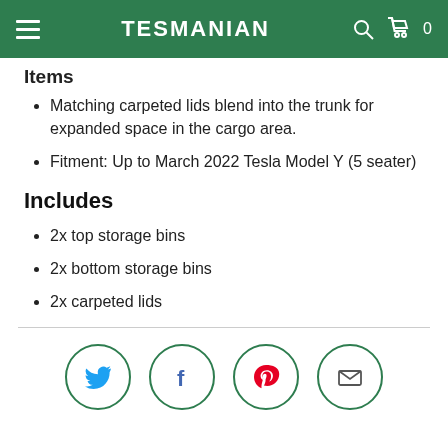TESMANIAN
Matching carpeted lids blend into the trunk for expanded space in the cargo area.
Fitment: Up to March 2022 Tesla Model Y (5 seater)
Includes
2x top storage bins
2x bottom storage bins
2x carpeted lids
[Figure (infographic): Social share icons: Twitter (bird), Facebook (f), Pinterest (p), Email (envelope) — each in a circular dark green border]